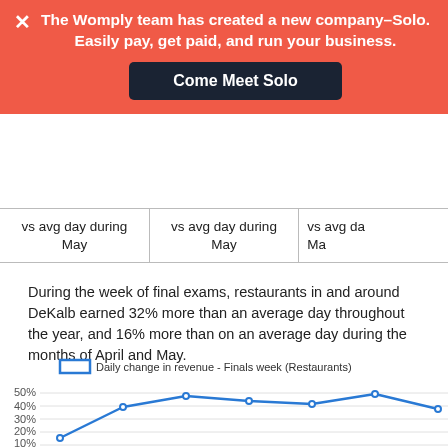The Womply team has created a new company–Solo. Easily pay, get paid, and run your business. Come Meet Solo
| vs avg day during May | vs avg day during May | vs avg da
Ma |
During the week of final exams, restaurants in and around DeKalb earned 32% more than an average day throughout the year, and 16% more than on an average day during the months of April and May.
[Figure (line-chart): Daily change in revenue - Finals week (Restaurants)]